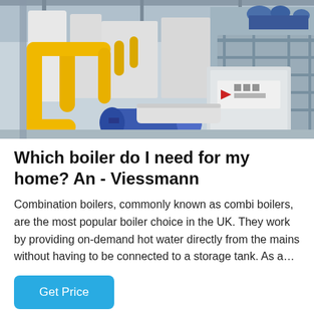[Figure (photo): Industrial boiler room with yellow pipes, blue cylindrical boiler components, metal scaffolding, and machinery with Chinese branding (red arrow logo) on white/grey panels.]
Which boiler do I need for my home? An - Viessmann
Combination boilers, commonly known as combi boilers, are the most popular boiler choice in the UK. They work by providing on-demand hot water directly from the mains without having to be connected to a storage tank. As a…
Get Price